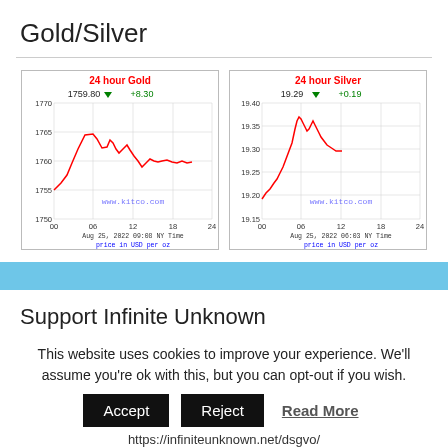Gold/Silver
[Figure (line-chart): 24 hour Gold price chart. Current price: 1759.80 +8.30. X-axis: 00 to 24 hours. Y-axis: 1750 to 1770. Date: Aug 25, 2022 09:08 NY Time. Price in USD per oz. www.kitco.com]
[Figure (line-chart): 24 hour Silver price chart. Current price: 19.29 +0.19. X-axis: 00 to 24 hours. Y-axis: 19.15 to 19.40. Date: Aug 25, 2022 06:03 NY Time. Price in USD per oz. www.kitco.com]
Support Infinite Unknown
This website uses cookies to improve your experience. We'll assume you're ok with this, but you can opt-out if you wish.
Accept   Reject   Read More
https://infiniteunknown.net/dsgvo/